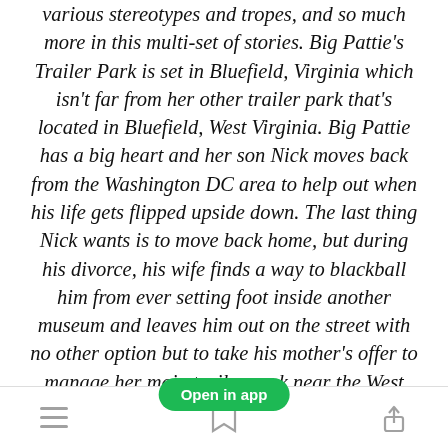various stereotypes and tropes, and so much more in this multi-set of stories. Big Pattie's Trailer Park is set in Bluefield, Virginia which isn't far from her other trailer park that's located in Bluefield, West Virginia. Big Pattie has a big heart and her son Nick moves back from the Washington DC area to help out when his life gets flipped upside down. The last thing Nick wants is to move back home, but during his divorce, his wife finds a way to blackball him from ever setting foot inside another museum and leaves him out on the street with no other option but to take his mother's offer to manage her main trailer park near the West Virginia/Virginia state line. The question